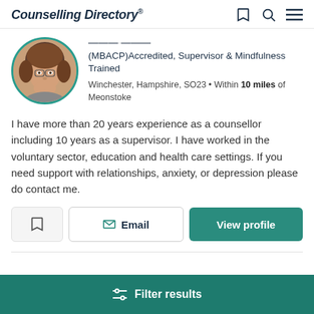Counselling Directory
[Figure (photo): Circular profile photo of a woman with short brown hair, bordered in teal]
Francesca Thorpe
(MBACP)Accredited, Supervisor & Mindfulness Trained
Winchester, Hampshire, SO23 • Within 10 miles of Meonstoke
I have more than 20 years experience as a counsellor including 10 years as a supervisor. I have worked in the voluntary sector, education and health care settings. If you need support with relationships, anxiety, or depression please do contact me.
Email
View profile
Filter results